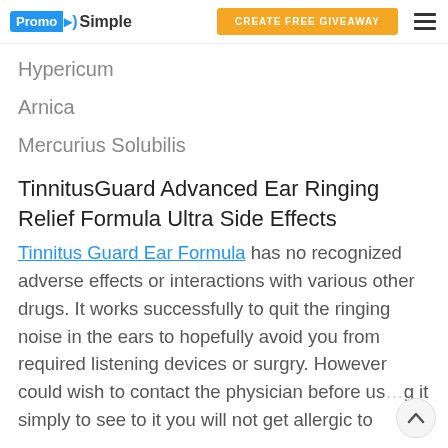PromoSimple | CREATE FREE GIVEAWAY
Hypericum
Arnica
Mercurius Solubilis
TinnitusGuard Advanced Ear Ringing Relief Formula Ultra Side Effects
Tinnitus Guard Ear Formula has no recognized adverse effects or interactions with various other drugs. It works successfully to quit the ringing noise in the ears to hopefully avoid you from required listening devices or surgry. However could wish to contact the physician before using it simply to see to it you will not get allergic to any of its components.